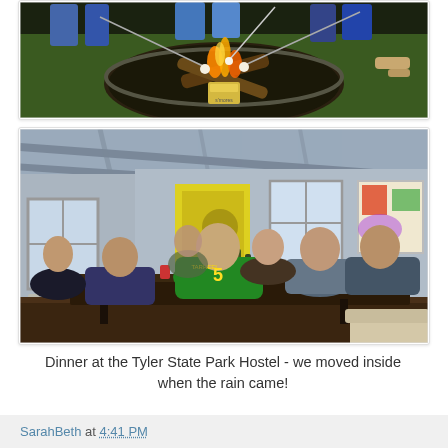[Figure (photo): People sitting around a fire pit outside at night, roasting marshmallows. View from above shows a metal fire bowl with burning wood and s'mores ingredients on a green lawn.]
[Figure (photo): Group of people having dinner inside the Tyler State Park Hostel. They are seated at a long table with red cups and food. A person in a green number 5 jersey is prominent in the foreground. Yellow and colorful artwork on the walls, white beamed ceiling.]
Dinner at the Tyler State Park Hostel - we moved inside when the rain came!
SarahBeth at 4:41 PM